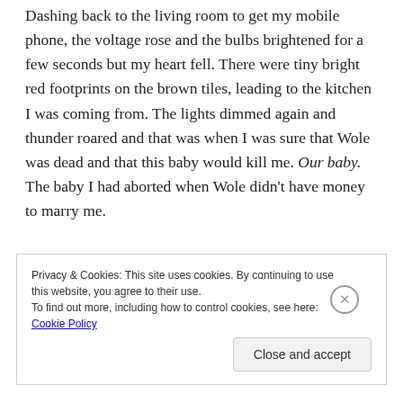Dashing back to the living room to get my mobile phone, the voltage rose and the bulbs brightened for a few seconds but my heart fell. There were tiny bright red footprints on the brown tiles, leading to the kitchen I was coming from. The lights dimmed again and thunder roared and that was when I was sure that Wole was dead and that this baby would kill me. Our baby. The baby I had aborted when Wole didn't have money to marry me.
Privacy & Cookies: This site uses cookies. By continuing to use this website, you agree to their use. To find out more, including how to control cookies, see here: Cookie Policy
Close and accept